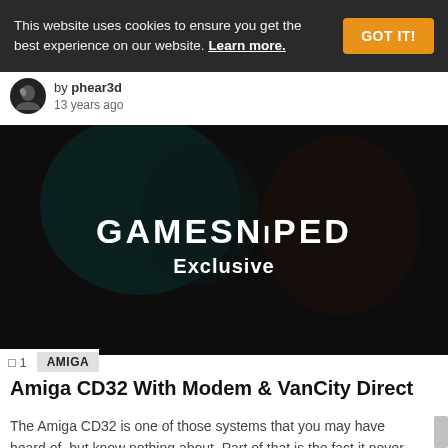This website uses cookies to ensure you get the best experience on our website. Learn more.
by phear3d
13 years ago
[Figure (screenshot): Dark thumbnail image with GAMESNiPED Exclusive logo overlay on a dark moody background with blurred figures]
1  AMIGA
Amiga CD32 With Modem & VanCity Direct
The Amiga CD32 is one of those systems that you may have heard of, but know nothing about. Part of that is the fact it never